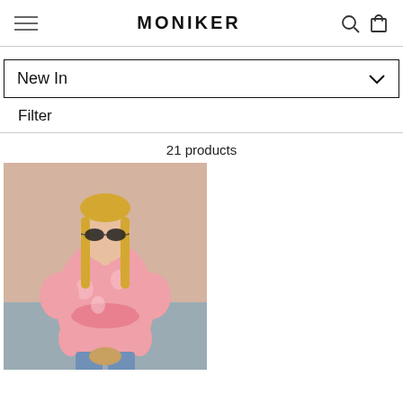MONIKER
New In
Filter
21 products
[Figure (photo): A blonde woman wearing sunglasses and a pink floral puff-sleeve top with a smocked waist, holding a bag, standing in front of a beige and grey background.]